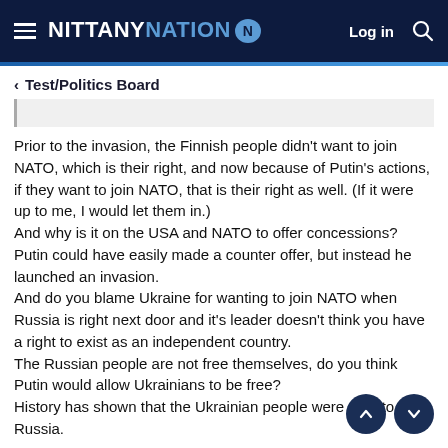NITTANY NATION — Log in
< Test/Politics Board
Prior to the invasion, the Finnish people didn't want to join NATO, which is their right, and now because of Putin's actions, if they want to join NATO, that is their right as well. (If it were up to me, I would let them in.)
And why is it on the USA and NATO to offer concessions? Putin could have easily made a counter offer, but instead he launched an invasion.
And do you blame Ukraine for wanting to join NATO when Russia is right next door and it's leader doesn't think you have a right to exist as an independent country.
The Russian people are not free themselves, do you think Putin would allow Ukrainians to be free?
History has shown that the Ukrainian people were right to trust Russia.